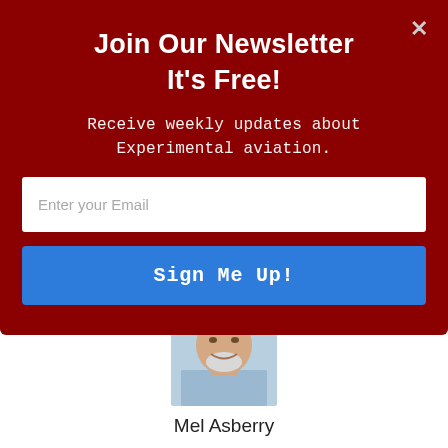Join Our Newsletter
It's Free!
Receive weekly updates about Experimental aviation.
Enter your Email
Sign Me Up!
[Figure (photo): Headshot photo of Mel Asberry, a smiling older man with white hair and beard, wearing a light blue shirt]
Mel Asberry
Mel Asberry is an experienced Designated Airworthiness Representative specializing in Experimental/Amateur-Built aircraft. He and his wife, Ann, have built seven amateur-built airplanes including two ultralight types, a Moni Motorglider, a Dragonfly Mk2, two RV-6s and a Zenair CH 601HDS. They are currently building a